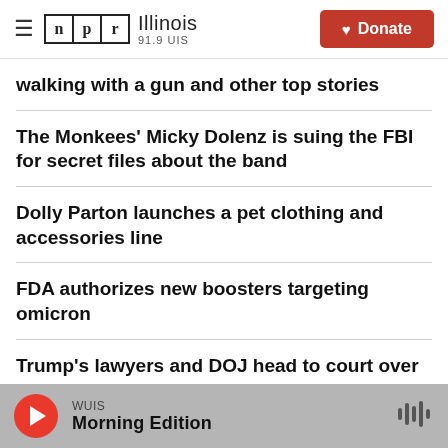NPR Illinois 91.9 UIS | Donate
walking with a gun and other top stories
The Monkees' Micky Dolenz is suing the FBI for secret files about the band
Dolly Parton launches a pet clothing and accessories line
FDA authorizes new boosters targeting omicron
Trump's lawyers and DOJ head to court over request for
WUIS
Morning Edition